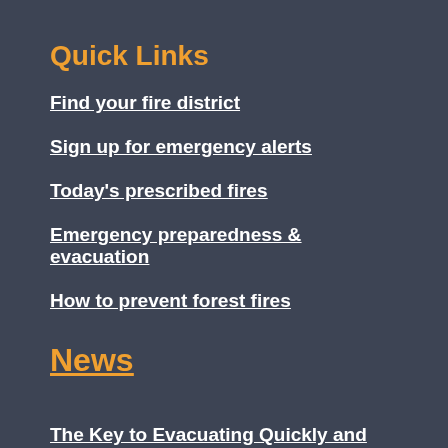Quick Links
Find your fire district
Sign up for emergency alerts
Today's prescribed fires
Emergency preparedness & evacuation
How to prevent forest fires
News
The Key to Evacuating Quickly and Safely is Preparation
Ded Fire We... and At the d Fir To...